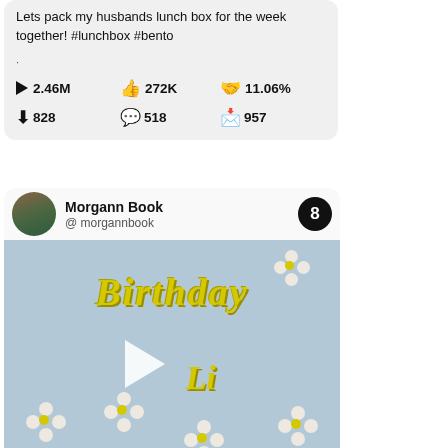Lets pack my husbands lunch box for the week together! #lunchbox #bento
▶ 2.46M   👍 272K   🤝 11.06%   ⬇ 828   💬 518   📩 957
[Figure (screenshot): Social media post card showing profile of Morgann Book (@morgannbook) with badge number 8, and a video thumbnail of a birthday cake decorated with yellow script text reading 'Birthday Li' and white daisy flowers on light blue frosting, with a play button overlay]
Morgann Book
@ morgannbook